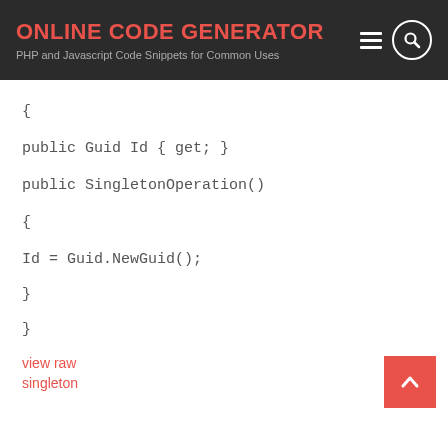ONLINE CODE GENERATOR
PHP and Javascript Code Snippets for Common Uses
{

public Guid Id { get; }

public SingletonOperation()

{

Id = Guid.NewGuid();

}

}
view raw
singleton